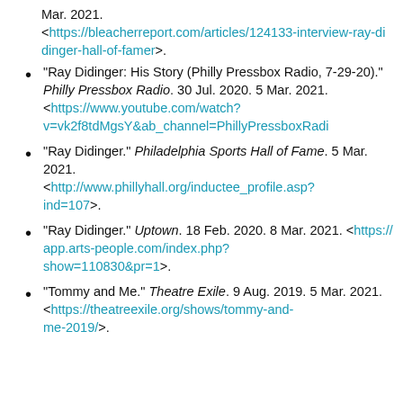Mar. 2021. <https://bleacherreport.com/articles/124133-interview-ray-didinger-hall-of-famer>.
"Ray Didinger: His Story (Philly Pressbox Radio, 7-29-20)." Philly Pressbox Radio. 30 Jul. 2020. 5 Mar. 2021. <https://www.youtube.com/watch?v=vk2f8tdMgsY&ab_channel=PhillyPressboxRadi
"Ray Didinger." Philadelphia Sports Hall of Fame. 5 Mar. 2021. <http://www.phillyhall.org/inductee_profile.asp?ind=107>.
"Ray Didinger." Uptown. 18 Feb. 2020. 8 Mar. 2021. <https://app.arts-people.com/index.php?show=110830&pr=1>.
"Tommy and Me." Theatre Exile. 9 Aug. 2019. 5 Mar. 2021. <https://theatreexile.org/shows/tommy-and-me-2019/>.